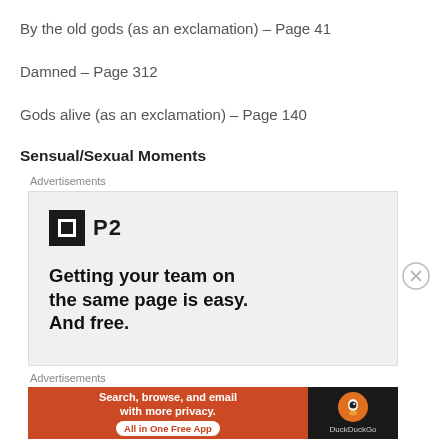By the old gods (as an exclamation) – Page 41
Damned – Page 312
Gods alive (as an exclamation) – Page 140
Sensual/Sexual Moments
[Figure (other): Advertisement banner for P2. Shows P2 logo (black square icon with white border + 'P2' text) and tagline: 'Getting your team on the same page is easy. And free.']
[Figure (other): DuckDuckGo advertisement banner. Orange section with text 'Search, browse, and email with more privacy. All in One Free App' and dark section with DuckDuckGo logo.]